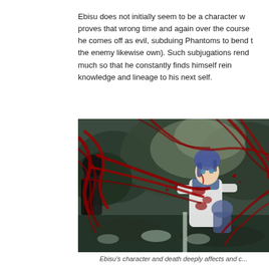Ebisu does not initially seem to be a character w... proves that wrong time and again over the course ... he comes off as evil, subduing Phantoms to bend t... the enemy likewise own). Such subjugations rend... much so that he constantly finds himself rein... knowledge and lineage to his next self.
[Figure (illustration): Anime scene showing a blue-haired character being attacked by dark red phantom-like tendrils in a forest/outdoor setting. The scene is dramatic with blood-red streaks across a muted green background.]
Ebisu's character and death deeply affects and c...